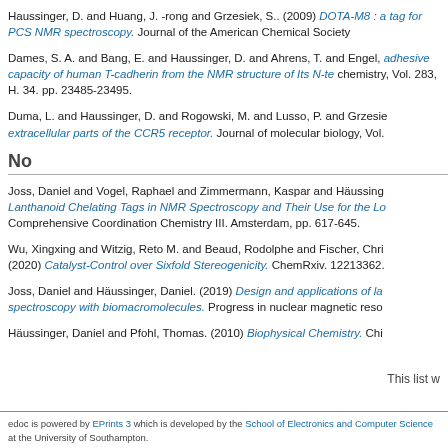Haussinger, D. and Huang, J. -rong and Grzesiek, S.. (2009) DOTA-M8 : a tag for PCS NMR spectroscopy. Journal of the American Chemical Society
Dames, S. A. and Bang, E. and Haussinger, D. and Ahrens, T. and Engel, ... adhesive capacity of human T-cadherin from the NMR structure of Its N-te... chemistry, Vol. 283, H. 34. pp. 23485-23495.
Duma, L. and Haussinger, D. and Rogowski, M. and Lusso, P. and Grzesie... extracellular parts of the CCR5 receptor. Journal of molecular biology, Vol.
No
Joss, Daniel and Vogel, Raphael and Zimmermann, Kaspar and Häussing... Lanthanoid Chelating Tags in NMR Spectroscopy and Their Use for the Lo... Comprehensive Coordination Chemistry III. Amsterdam, pp. 617-645.
Wu, Xingxing and Witzig, Reto M. and Beaud, Rodolphe and Fischer, Chri... (2020) Catalyst-Control over Sixfold Stereogenicity. ChemRxiv. 12213362.
Joss, Daniel and Häussinger, Daniel. (2019) Design and applications of la... spectroscopy with biomacromolecules. Progress in nuclear magnetic reso...
Häussinger, Daniel and Pfohl, Thomas. (2010) Biophysical Chemistry. Chi...
This list w
edoc is powered by EPrints 3 which is developed by the School of Electronics and Computer Science at the University of Southampton.